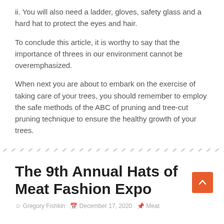ii. You will also need a ladder, gloves, safety glass and a hard hat to protect the eyes and hair.
To conclude this article, it is worthy to say that the importance of threes in our environment cannot be overemphasized.
When next you are about to embark on the exercise of taking care of your trees, you should remember to employ the safe methods of the ABC of pruning and tree-cut pruning technique to ensure the healthy growth of your trees.
[Figure (other): Decorative diagonal hatched divider line]
The 9th Annual Hats of Meat Fashion Expo
Gregory Fishkin   December 17, 2020   Meat